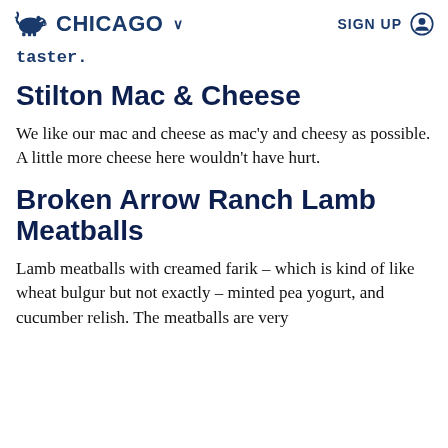CHICAGO  SIGN UP
taster.
Stilton Mac & Cheese
We like our mac and cheese as mac'y and cheesy as possible. A little more cheese here wouldn't have hurt.
Broken Arrow Ranch Lamb Meatballs
Lamb meatballs with creamed farik – which is kind of like wheat bulgur but not exactly – minted pea yogurt, and cucumber relish. The meatballs are very